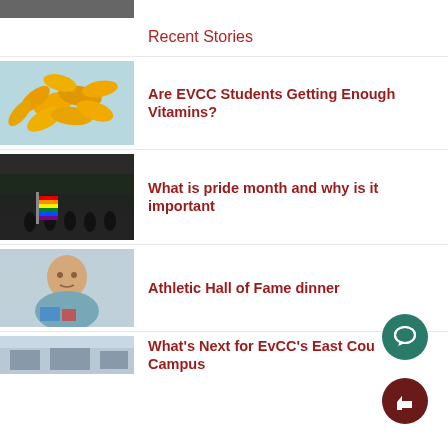[Figure (photo): Partial top image, cropped at top of page]
Recent Stories
[Figure (photo): Vitamin capsules/gel pills on light blue background]
Are EVCC Students Getting Enough Vitamins?
[Figure (photo): Black and white photo of people with rainbow pride flag]
What is pride month and why is it important
[Figure (photo): Elderly man smiling, holding colorful items]
Athletic Hall of Fame dinner
[Figure (photo): Partial photo of campus building exterior]
What's Next for EvCC's East Cou Campus